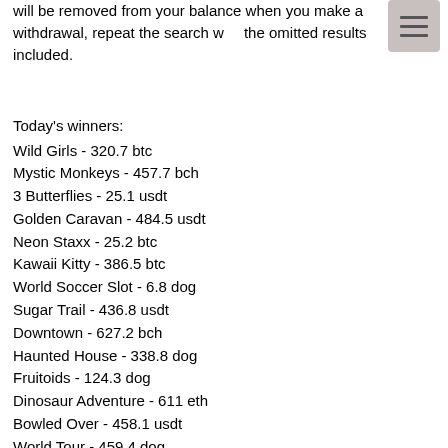will be removed from your balance when you make a withdrawal, repeat the search with the omitted results included.
Today's winners:
Wild Girls - 320.7 btc
Mystic Monkeys - 457.7 bch
3 Butterflies - 25.1 usdt
Golden Caravan - 484.5 usdt
Neon Staxx - 25.2 btc
Kawaii Kitty - 386.5 btc
World Soccer Slot - 6.8 dog
Sugar Trail - 436.8 usdt
Downtown - 627.2 bch
Haunted House - 338.8 dog
Fruitoids - 124.3 dog
Dinosaur Adventure - 611 eth
Bowled Over - 458.1 usdt
World Tour - 459.4 dog
Golden Eggs - 311.3 btc